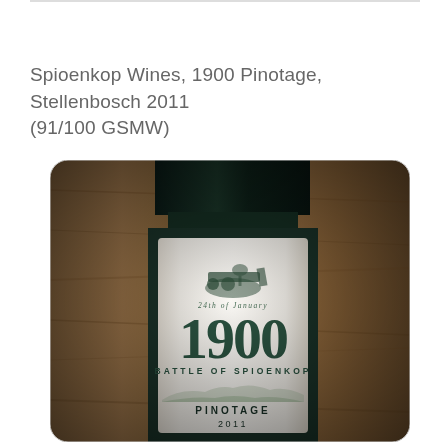Spioenkop Wines, 1900 Pinotage, Stellenbosch 2011 (91/100 GSMW)
[Figure (photo): Close-up photograph of a wine bottle label for Spioenkop Wines '1900 Battle of Spioenkop Pinotage 2011'. The label shows a cannon illustration with the text '24th of January', large numerals '1900', 'BATTLE OF SPIOENKOP', 'PINOTAGE', '2011'. The bottle is photographed against a wooden table background with a warm, slightly vintage-filtered tone.]